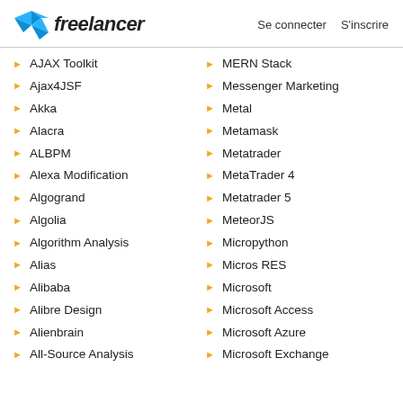freelancer | Se connecter  S'inscrire
AJAX Toolkit
Ajax4JSF
Akka
Alacra
ALBPM
Alexa Modification
Algogrand
Algolia
Algorithm Analysis
Alias
Alibaba
Alibre Design
Alienbrain
All-Source Analysis
MERN Stack
Messenger Marketing
Metal
Metamask
Metatrader
MetaTrader 4
Metatrader 5
MeteorJS
Micropython
Micros RES
Microsoft
Microsoft Access
Microsoft Azure
Microsoft Exchange